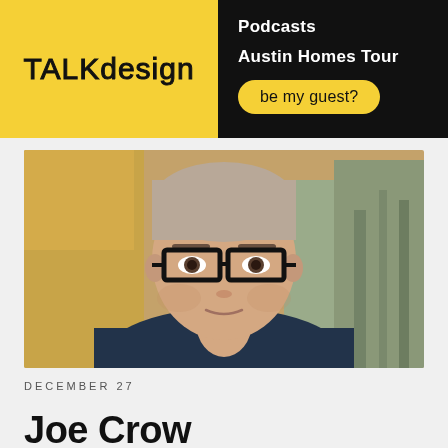TALKdesign
Podcasts
Austin Homes Tour
be my guest?
[Figure (photo): Close-up portrait of a young man with short light hair, wearing black rectangular glasses and a dark navy t-shirt, with a slight smile. Background appears to be a gym or fitness center, blurred.]
DECEMBER 27
Joe Crow